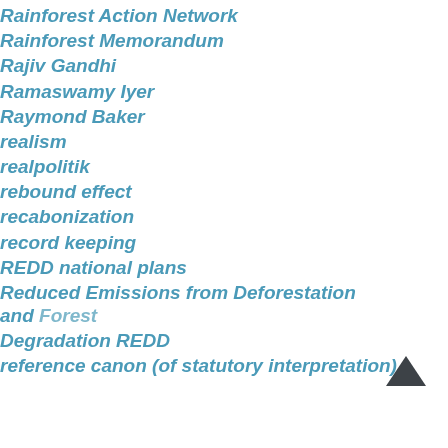Rainforest Action Network
Rainforest Memorandum
Rajiv Gandhi
Ramaswamy Iyer
Raymond Baker
realism
realpolitik
rebound effect
recabonization
record keeping
REDD national plans
Reduced Emissions from Deforestation and Forest Degradation REDD
reference canon (of statutory interpretation)